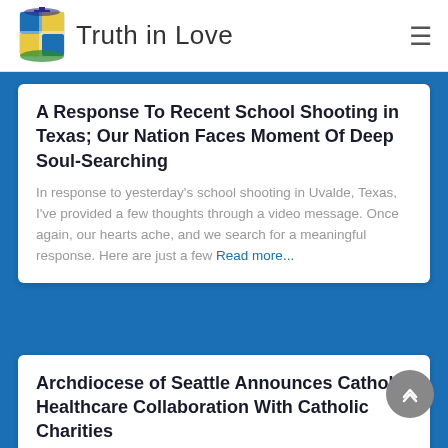Truth in Love
A Response To Recent School Shooting in Texas; Our Nation Faces Moment Of Deep Soul-Searching
In response to yesterday's school shooting in Uvalde, Texas, I've provided a few thoughts through a video message. Once again, our hearts ache, and we search for a meaningful response. Here are just a few Read more...
Archdiocese of Seattle Announces Catholic Healthcare Collaboration With Catholic Charities